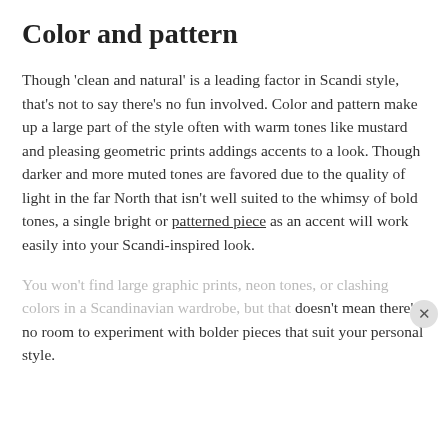Color and pattern
Though 'clean and natural' is a leading factor in Scandi style, that's not to say there's no fun involved. Color and pattern make up a large part of the style often with warm tones like mustard and pleasing geometric prints addings accents to a look. Though darker and more muted tones are favored due to the quality of light in the far North that isn't well suited to the whimsy of bold tones, a single bright or patterned piece as an accent will work easily into your Scandi-inspired look.
You won't find large graphic prints, neon tones, or clashing colors in a Scandinavian wardrobe, but that doesn't mean there's no room to experiment with bolder pieces that suit your personal style.